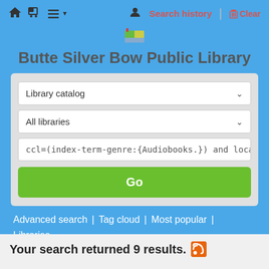Butte Silver Bow Public Library — navigation bar with home, cart, list, user icons, Search history, Clear
Butte Silver Bow Public Library
[Figure (screenshot): Library catalog search interface with two dropdowns (Library catalog, All libraries), a search query input field showing ccl=(index-term-genre:{Audiobooks.}) and locati, and a Go button]
Advanced search | Tag cloud | Most popular | Libraries
Your search returned 9 results.